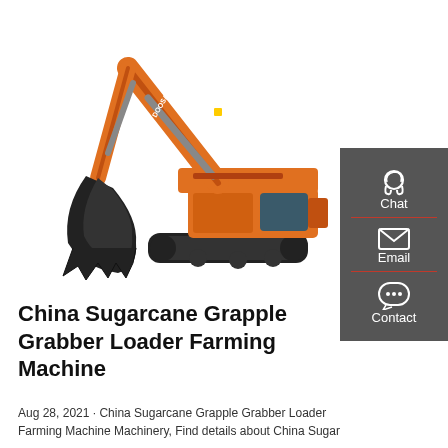[Figure (photo): Orange Doosan excavator/sugarcane grapple grabber loader farming machine with extended arm and bucket attachment, on white background.]
China Sugarcane Grapple Grabber Loader Farming Machine
Aug 28, 2021 · China Sugarcane Grapple Grabber Loader Farming Machine Machinery, Find details about China Sugar